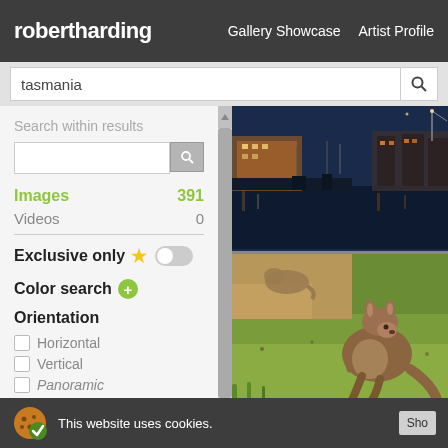robertharding   Gallery Showcase   Artist Profile
tasmania [search input]
Search within results
Images   391
Videos   0
Exclusive only
Color search
Orientation
Horizontal
Vertical
Panoramic
[Figure (photo): Harbor at dusk with boats moored, blue water reflections, waterfront buildings lit in warm light, Tasmania]
[Figure (photo): Kangaroo standing on grass looking at camera, another kangaroo grazing in background, Tasmania wildlife]
This website uses cookies.   Sho[w]